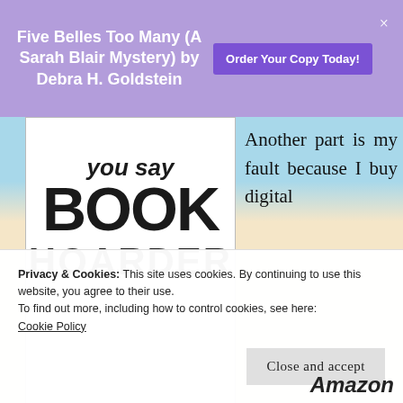Five Belles Too Many (A Sarah Blair Mystery) by Debra H. Goldstein
[Figure (illustration): Purple promotional banner with book title and Order Your Copy Today button]
[Figure (photo): Book cover showing 'You say BOOK HOARDER' text on white background]
Another part is my fault because I buy digital
Privacy & Cookies: This site uses cookies. By continuing to use this website, you agree to their use.
To find out more, including how to control cookies, see here:
Cookie Policy
Close and accept
Amazon